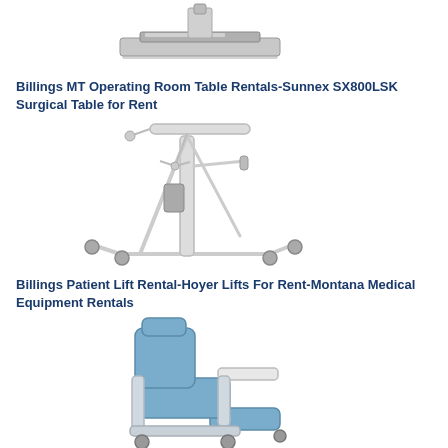[Figure (photo): Photo of a stainless steel surgical table top (Sunnex SX800LSK), viewed from above at angle, showing the table surface and mounting hardware.]
Billings MT Operating Room Table Rentals-Sunnex SX800LSK Surgical Table for Rent
[Figure (photo): Photo of a Hoyer patient lift device — a white metal frame with wheeled base, vertical mast, and horizontal boom arm for lifting patients.]
Billings Patient Lift Rental-Hoyer Lifts For Rent-Montana Medical Equipment Rentals
[Figure (photo): Photo of a blue and grey recliner chair with a fold-out tray arm and wheeled base, used as a medical/clinical geri-chair recliner.]